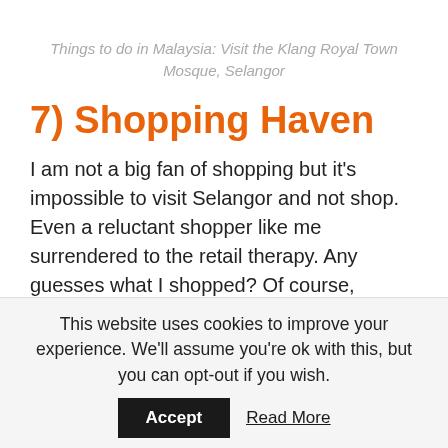Things to do in Malaysia: Visit the Klang Royal Town Mosque, Selangor
7) Shopping Haven
I am not a big fan of shopping but it's impossible to visit Selangor and not shop. Even a reluctant shopper like me surrendered to the retail therapy. Any guesses what I shopped? Of course, shoes. My reason to purchase – good quality at unheard of prices. Though Malaysia is not as cheap as Thailand or Vietnam for shopping you get good quality stuff at great prices and there are malls all around
This website uses cookies to improve your experience. We'll assume you're ok with this, but you can opt-out if you wish.
Accept    Read More